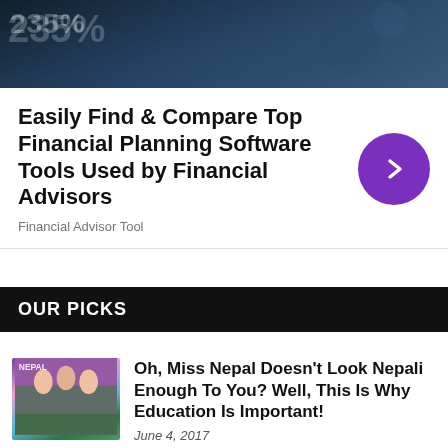[Figure (photo): Dark background financial image with numbers visible, showing a hand near a phone/tablet with financial data]
Easily Find & Compare Top Financial Planning Software Tools Used by Financial Advisors
Financial Advisor Tool
OUR PICKS
[Figure (photo): Miss Nepal pageant contestants in traditional and formal attire]
Oh, Miss Nepal Doesn't Look Nepali Enough To You? Well, This Is Why Education Is Important!
June 4, 2017
[Figure (photo): Older Indian male journalist, senior man in light colored shirt]
“Air Of Unfriendliness Hangs In Nepal,” Senior Indian Journalist Writes After Returning From Nepal